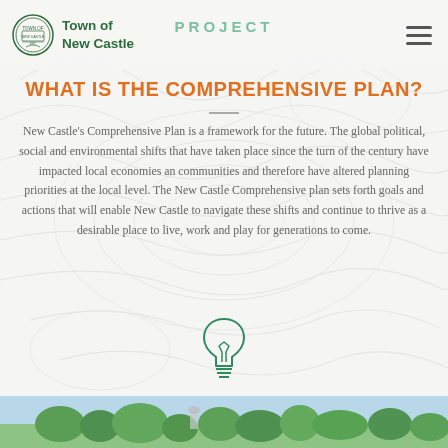PROJECT
[Figure (logo): Town of New Castle circular seal logo with green text]
WHAT IS THE COMPREHENSIVE PLAN?
New Castle's Comprehensive Plan is a framework for the future. The global political, social and environmental shifts that have taken place since the turn of the century have impacted local economies an communities and therefore have altered planning priorities at the local level. The New Castle Comprehensive plan sets forth goals and actions that will enable New Castle to navigate these shifts and continue to thrive as a desirable place to live, work and play for generations to come.
[Figure (illustration): Green lightbulb icon outline]
[Figure (photo): Landscape photo strip showing trees and outdoor scenery at the bottom of the page]